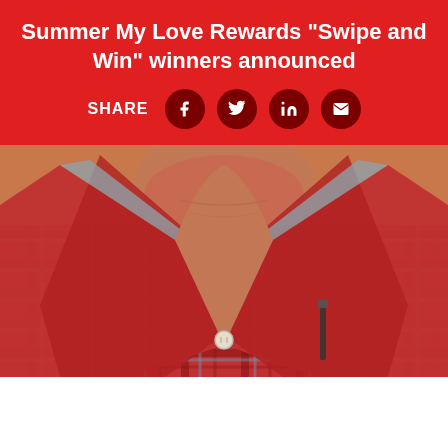Summer My Love Rewards "Swipe and Win" winners announced
[Figure (photo): Close-up photo of a person's neck and chest wearing an open-collar red and blue plaid/checkered shirt. The person's sunburned skin is visible at the neck. A pen or stylus is visible in the shirt pocket.]